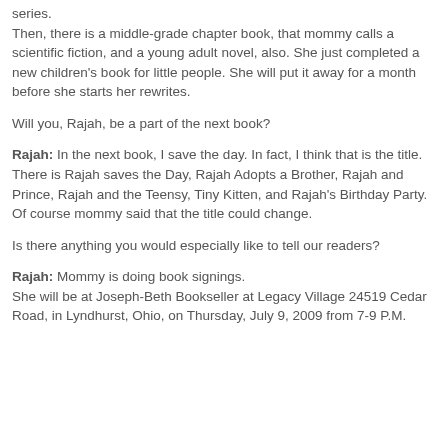series. Then, there is a middle-grade chapter book, that mommy calls a scientific fiction, and a young adult novel, also. She just completed a new children's book for little people. She will put it away for a month before she starts her rewrites.
Will you, Rajah, be a part of the next book?
Rajah: In the next book, I save the day. In fact, I think that is the title. There is Rajah saves the Day, Rajah Adopts a Brother, Rajah and Prince, Rajah and the Teensy, Tiny Kitten, and Rajah's Birthday Party. Of course mommy said that the title could change.
Is there anything you would especially like to tell our readers?
Rajah: Mommy is doing book signings. She will be at Joseph-Beth Bookseller at Legacy Village 24519 Cedar Road, in Lyndhurst, Ohio, on Thursday, July 9, 2009 from 7-9 P.M.